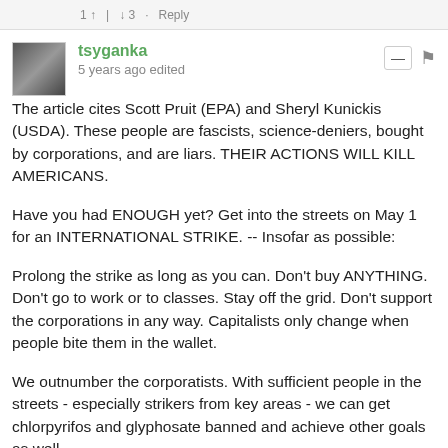1 ↑ | ↓ 3 · Reply
tsyganka
5 years ago edited
The article cites Scott Pruit (EPA) and Sheryl Kunickis (USDA). These people are fascists, science-deniers, bought by corporations, and are liars. THEIR ACTIONS WILL KILL AMERICANS.
Have you had ENOUGH yet? Get into the streets on May 1 for an INTERNATIONAL STRIKE. -- Insofar as possible:
Prolong the strike as long as you can. Don't buy ANYTHING. Don't go to work or to classes. Stay off the grid. Don't support the corporations in any way. Capitalists only change when people bite them in the wallet.
We outnumber the corporatists. With sufficient people in the streets - especially strikers from key areas - we can get chlorpyrifos and glyphosate banned and achieve other goals as well.
Keys -- Transportation: When people, produce, and products move, the corporations make their profits.